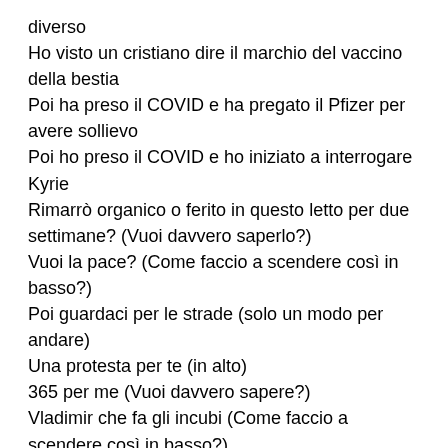diverso
Ho visto un cristiano dire il marchio del vaccino della bestia
Poi ha preso il COVID e ha pregato il Pfizer per avere sollievo
Poi ho preso il COVID e ho iniziato a interrogare Kyrie
Rimarrò organico o ferito in questo letto per due settimane? (Vuoi davvero saperlo?)
Vuoi la pace? (Come faccio a scendere così in basso?)
Poi guardaci per le strade (solo un modo per andare)
Una protesta per te (in alto)
365 per me (Vuoi davvero sapere?)
Vladimir che fa gli incubi (Come faccio a scendere così in basso?)
Ma è così che pensiamo tutti (solo un modo per andare)
La coscienza collettiva (in alto)
Calamità ripetute, eh